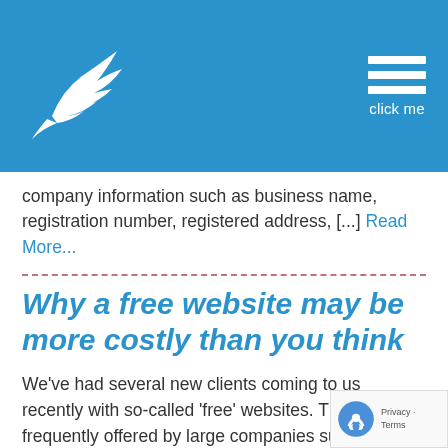Navigation header with bird logo and hamburger menu (click me)
company information such as business name, registration number, registered address, [...] Read More...
Why a free website may be more costly than you think
We've had several new clients coming to us recently with so-called 'free' websites. These are frequently offered by large companies such as 1 and 1 Internet, GoDaddy, HostGator, Wix.com etc. You know the ones.